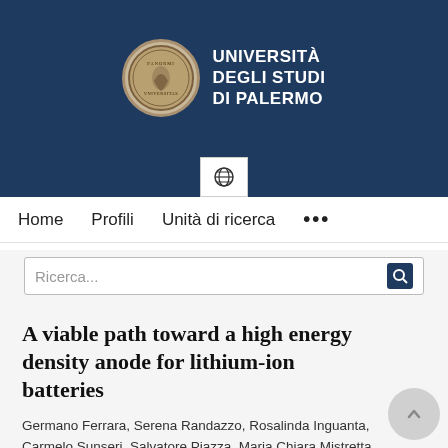[Figure (logo): Università degli Studi di Palermo logo with circular seal and university name in white text on dark blue background]
Home   Profili   Unità di ricerca   •••
Ricerca...
A viable path toward a high energy density anode for lithium-ion batteries
Germano Ferrara, Serena Randazzo, Rosalinda Inguanta, Carmelo Sunseri, Salvatore Piazza, Maria Chiara Mistretta,